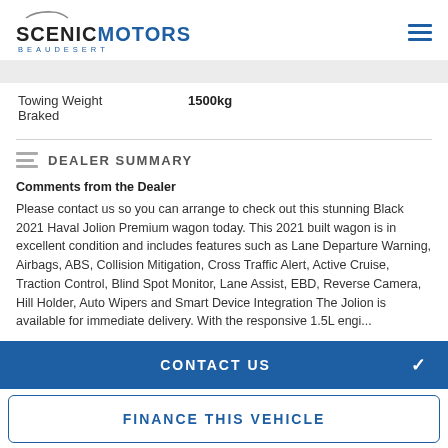Scenic Motors Beaudesert
| Towing Weight Braked | 1500kg |
| --- | --- |
DEALER SUMMARY
Comments from the Dealer
Please contact us so you can arrange to check out this stunning Black 2021 Haval Jolion Premium wagon today. This 2021 built wagon is in excellent condition and includes features such as Lane Departure Warning, Airbags, ABS, Collision Mitigation, Cross Traffic Alert, Active Cruise, Traction Control, Blind Spot Monitor, Lane Assist, EBD, Reverse Camera, Hill Holder, Auto Wipers and Smart Device Integration The Jolion is available for immediate delivery. With the responsive 1.5L engi...
CONTACT US
FINANCE THIS VEHICLE